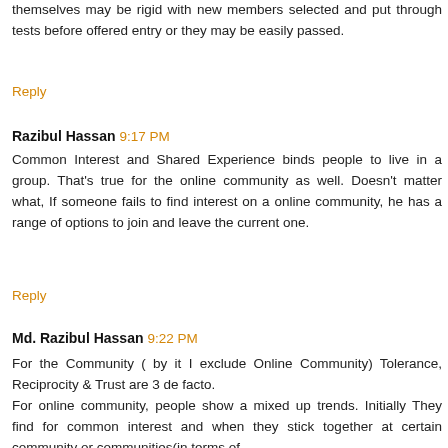themselves may be rigid with new members selected and put through tests before offered entry or they may be easily passed.
Reply
Razibul Hassan 9:17 PM
Common Interest and Shared Experience binds people to live in a group. That's true for the online community as well. Doesn't matter what, If someone fails to find interest on a online community, he has a range of options to join and leave the current one.
Reply
Md. Razibul Hassan 9:22 PM
For the Community ( by it I exclude Online Community) Tolerance, Reciprocity & Trust are 3 de facto.
For online community, people show a mixed up trends. Initially They find for common interest and when they stick together at certain community or communities(in terms of